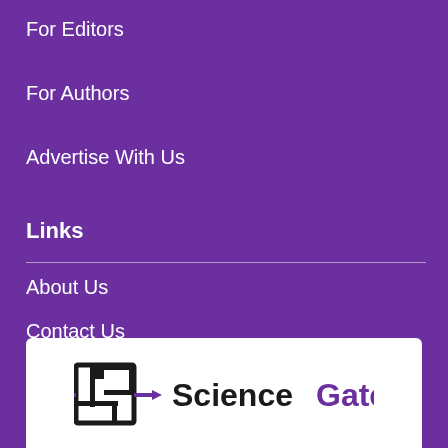For Editors
For Authors
Advertise With Us
Links
About Us
Contact Us
Terms and Conditions
Privacy Policy
[Figure (logo): ScienceGate logo with maze-like icon and text 'ScienceGate' where 'Gate' is in purple]